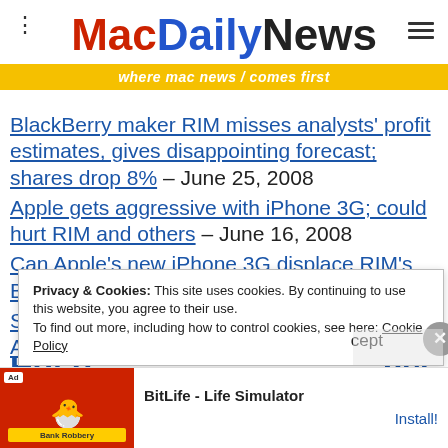MacDailyNews — where mac news comes first
BlackBerry maker RIM misses analysts' profit estimates, gives disappointing forecast; shares drop 8% – June 25, 2008
Apple gets aggressive with iPhone 3G; could hurt RIM and others – June 16, 2008
Can Apple's new iPhone 3G displace RIM's BlackBerry in business? – June 12, 2008
Samsung's 'Instinct' is obviously to make Apple iPhone knockoffs – April 01, 2008
Apple takes top spot from Nokia on AMR Research's
Privacy & Cookies: This site uses cookies. By continuing to use this website, you agree to their use. To find out more, including how to control cookies, see here: Cookie Policy
Accept
[Figure (screenshot): BitLife - Life Simulator advertisement banner with red background and cartoon characters]
Hot o… nes